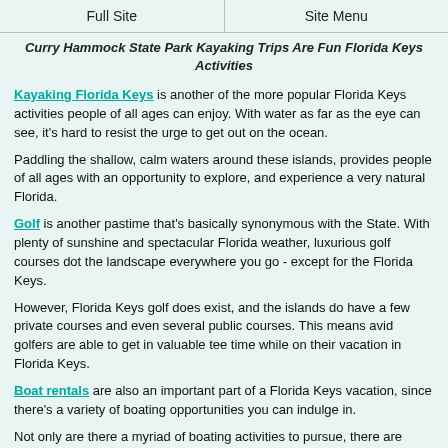Full Site | Site Menu
Curry Hammock State Park Kayaking Trips Are Fun Florida Keys Activities
Kayaking Florida Keys is another of the more popular Florida Keys activities people of all ages can enjoy. With water as far as the eye can see, it's hard to resist the urge to get out on the ocean.
Paddling the shallow, calm waters around these islands, provides people of all ages with an opportunity to explore, and experience a very natural Florida.
Golf is another pastime that's basically synonymous with the State. With plenty of sunshine and spectacular Florida weather, luxurious golf courses dot the landscape everywhere you go - except for the Florida Keys.
However, Florida Keys golf does exist, and the islands do have a few private courses and even several public courses. This means avid golfers are able to get in valuable tee time while on their vacation in Florida Keys.
Boat rentals are also an important part of a Florida Keys vacation, since there's a variety of boating opportunities you can indulge in.
Not only are there a myriad of boating activities to pursue, there are numerous places up and down the Keys that rent equipment ranging from catamarans to jet skis, sailboats to pleasure or fishing boats.